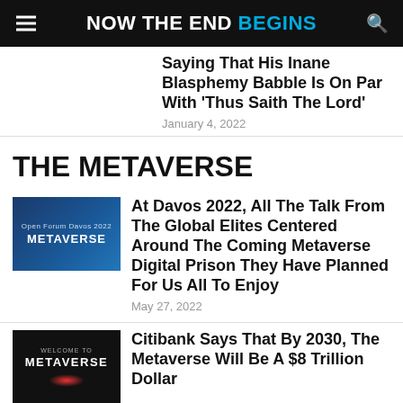NOW THE END BEGINS
Saying That His Inane Blasphemy Babble Is On Par With 'Thus Saith The Lord'
January 4, 2022
THE METAVERSE
[Figure (photo): Panel at Open Forum Davos 2022 with METAVERSE label on screen]
At Davos 2022, All The Talk From The Global Elites Centered Around The Coming Metaverse Digital Prison They Have Planned For Us All To Enjoy
May 27, 2022
[Figure (photo): Welcome to Metaverse dark background with red glow]
Citibank Says That By 2030, The Metaverse Will Be A $8 Trillion Dollar